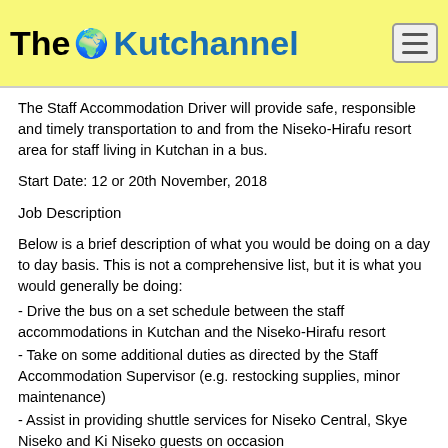The 🌍 Kutchannel
The Staff Accommodation Driver will provide safe, responsible and timely transportation to and from the Niseko-Hirafu resort area for staff living in Kutchan in a bus.
Start Date: 12 or 20th November, 2018
Job Description
Below is a brief description of what you would be doing on a day to day basis. This is not a comprehensive list, but it is what you would generally be doing:
- Drive the bus on a set schedule between the staff accommodations in Kutchan and the Niseko-Hirafu resort
- Take on some additional duties as directed by the Staff Accommodation Supervisor (e.g. restocking supplies, minor maintenance)
- Assist in providing shuttle services for Niseko Central, Skye Niseko and Ki Niseko guests on occasion
Required skills/experience:
- International Driving Permit with category D stamp (higher